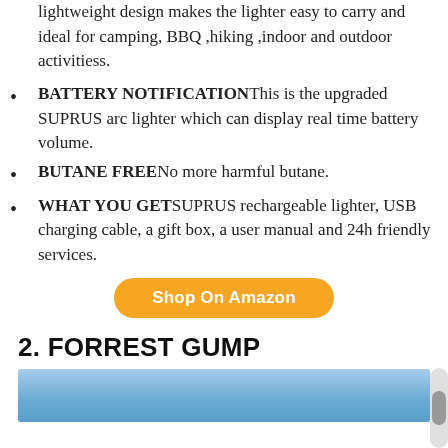lightweight design makes the lighter easy to carry and ideal for camping, BBQ ,hiking ,indoor and outdoor activitiess.
BATTERY NOTIFICATION—This is the upgraded SUPRUS arc lighter which can display real time battery volume.
BUTANE FREE—No more harmful butane.
WHAT YOU GET—SUPRUS rechargeable lighter, USB charging cable, a gift box, a user manual and 24h friendly services.
Shop On Amazon
2. FORREST GUMP
[Figure (photo): Blue sky background image, partial view at bottom of page]